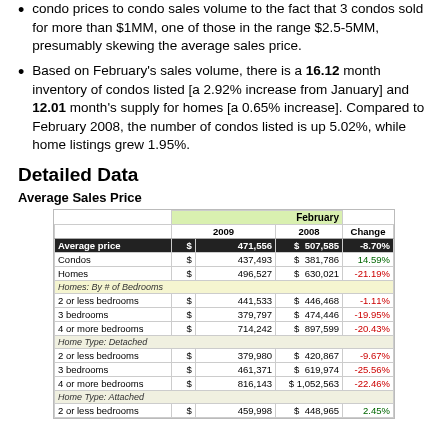condo prices to condo sales volume to the fact that 3 condos sold for more than $1MM, one of those in the range $2.5-5MM, presumably skewing the average sales price.
Based on February's sales volume, there is a 16.12 month inventory of condos listed [a 2.92% increase from January] and 12.01 month's supply for homes [a 0.65% increase]. Compared to February 2008, the number of condos listed is up 5.02%, while home listings grew 1.95%.
Detailed Data
Average Sales Price
|  | February 2009 | February 2008 | Change |
| --- | --- | --- | --- |
| Average price | $ 471,556 | $ 507,585 | -8.70% |
| Condos | $ 437,493 | $ 381,786 | 14.59% |
| Homes | $ 496,527 | $ 630,021 | -21.19% |
| Homes: By # of Bedrooms |  |  |  |
| 2 or less bedrooms | $ 441,533 | $ 446,468 | -1.11% |
| 3 bedrooms | $ 379,797 | $ 474,446 | -19.95% |
| 4 or more bedrooms | $ 714,242 | $ 897,599 | -20.43% |
| Home Type: Detached |  |  |  |
| 2 or less bedrooms | $ 379,980 | $ 420,867 | -9.67% |
| 3 bedrooms | $ 461,371 | $ 619,974 | -25.58% |
| 4 or more bedrooms | $ 816,143 | $ 1,052,563 | -22.46% |
| Home Type: Attached |  |  |  |
| 2 or less bedrooms | $ 459,998 | $ 448,965 | 2.45% |